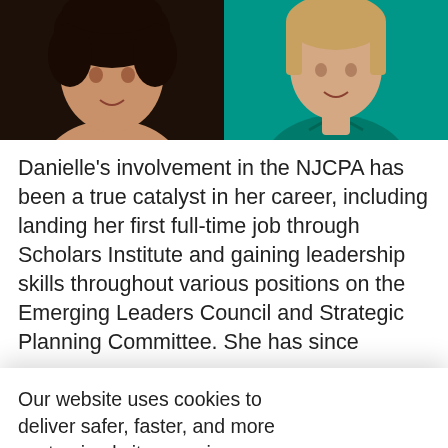[Figure (photo): Two headshot photos side by side: left shows a person with dark curly hair against dark background, right shows a person in a teal/green top against teal background]
Danielle's involvement in the NJCPA has been a true catalyst in her career, including landing her first full-time job through Scholars Institute and gaining leadership skills throughout various positions on the Emerging Leaders Council and Strategic Planning Committee. She has since...
Our website uses cookies to deliver safer, faster, and more customized site experiences. The three types of cookies we use are strictly necessary, analytics and performance, and advertising. Please accept the use of cookies or review our cookie policy.